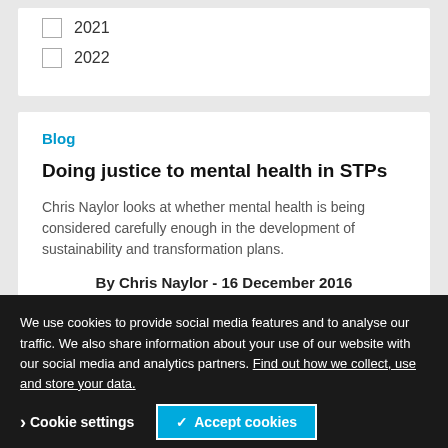2021
2022
Blog
Doing justice to mental health in STPs
Chris Naylor looks at whether mental health is being considered carefully enough in the development of sustainability and transformation plans.
By Chris Naylor - 16 December 2016
We use cookies to provide social media features and to analyse our traffic. We also share information about your use of our website with our social media and analytics partners. Find out how we collect, use and store your data.
Cookie settings
✓ Accept cookies